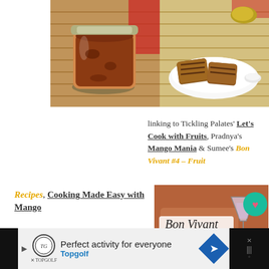[Figure (photo): Two food photos side by side: left shows a glass jar filled with mango jam/chutney on a bamboo mat background; right shows grilled/toasted bread slices on a white plate with a mango and small bowl]
linking to Tickling Palates' Let's Cook with Fruits, Pradnya's Mango Mania & Sumee's Bon Vivant #4 – Fruit
Recipes, Cooking Made Easy with Mango
[Figure (illustration): Bon Vivant logo image on brown background with martini glass illustration and text 'Bon Vivant @ Sumee's Culinary Bites', with teal heart button and pink share button]
Perfect activity for everyone Topgolf [advertisement]